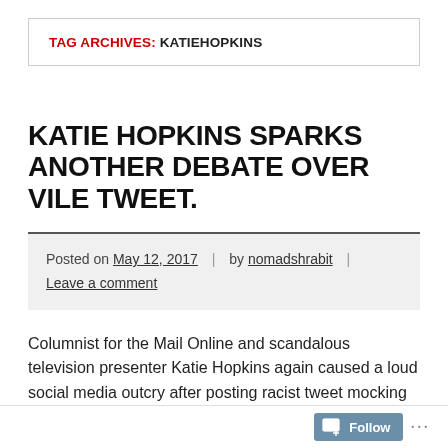TAG ARCHIVES: KATIEHOPKINS
KATIE HOPKINS SPARKS ANOTHER DEBATE OVER VILE TWEET.
Posted on May 12, 2017 | by nomadshrabit | Leave a comment
Columnist for the Mail Online and scandalous television presenter Katie Hopkins again caused a loud social media outcry after posting racist tweet mocking Black Lives Matter movement and " Dear White People " Netflix series. " Dear black people. If your lives matter why do you stab and shoot each other so much. " Katie